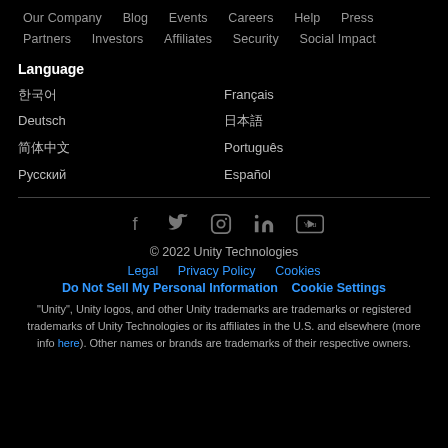Our Company  Blog  Events  Careers  Help  Press  Partners  Investors  Affiliates  Security  Social Impact
Language
한국어
Français
Deutsch
日本語
简体中文
Português
Русский
Español
[Figure (infographic): Social media icons: Facebook, Twitter, Instagram, LinkedIn, YouTube]
© 2022 Unity Technologies
Legal   Privacy Policy   Cookies
Do Not Sell My Personal Information   Cookie Settings
"Unity", Unity logos, and other Unity trademarks are trademarks or registered trademarks of Unity Technologies or its affiliates in the U.S. and elsewhere (more info here). Other names or brands are trademarks of their respective owners.